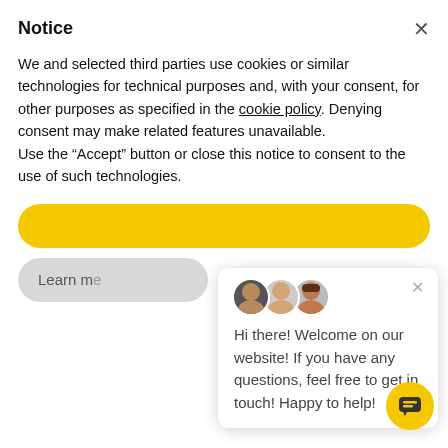Notice
We and selected third parties use cookies or similar technologies for technical purposes and, with your consent, for other purposes as specified in the cookie policy. Denying consent may make related features unavailable.
Use the “Accept” button or close this notice to consent to the use of such technologies.
[Figure (screenshot): Yellow Accept button (rounded pill shape)]
[Figure (screenshot): Gray Learn more button partially visible]
Sales Analytics
HACCP & Tasks
Internal Ordering
[Figure (screenshot): Chat popup with three team member avatars and text: Hi there! Welcome on our website! If you have any questions, feel free to get in touch! Happy to help!]
[Figure (screenshot): Yellow chat bubble button at bottom right]